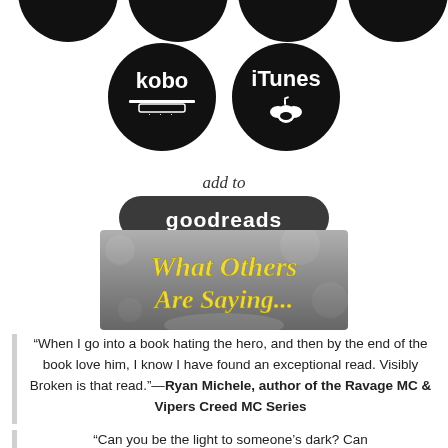[Figure (logo): Partial black circular retailer/platform icons visible at top of page (cropped)]
[Figure (logo): Kobo and iTunes black circular logo buttons]
[Figure (illustration): Add to Goodreads button with cursive 'add to' text above dark rounded rectangle with 'goodreads' in white]
[Figure (illustration): Decorative banner image with script text reading 'What Others Are Saying...' on a grey bokeh background]
“When I go into a book hating the hero, and then by the end of the book love him, I know I have found an exceptional read. Visibly Broken is that read.”—Ryan Michele, author of the Ravage MC & Vipers Creed MC Series
“Can you be the light to someone’s dark? Can